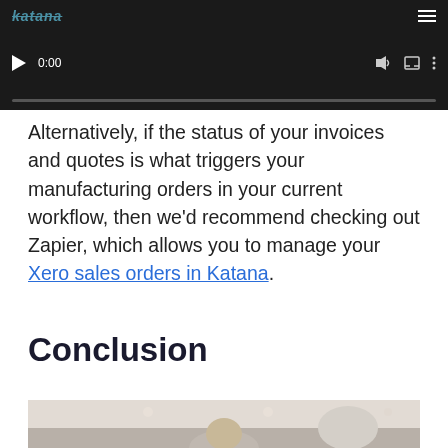[Figure (screenshot): Embedded video player with dark background showing Katana logo, play button, 0:00 timestamp, progress bar, volume, fullscreen, and menu icons]
Alternatively, if the status of your invoices and quotes is what triggers your manufacturing orders in your current workflow, then we'd recommend checking out Zapier, which allows you to manage your Xero sales orders in Katana.
Conclusion
[Figure (photo): Partial photo showing a woman in a bright interior space, cropped at bottom of page]